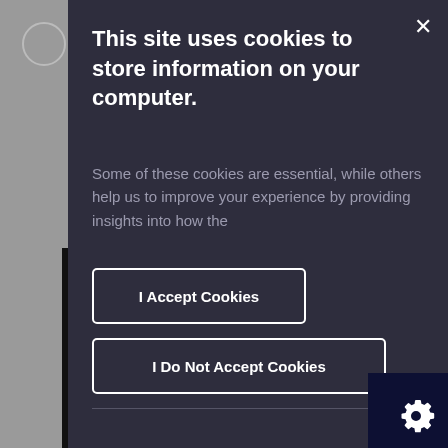This site uses cookies to store information on your computer.
Some of these cookies are essential, while others help us to improve your experience by providing insights into how the
I Accept Cookies
I Do Not Accept Cookies